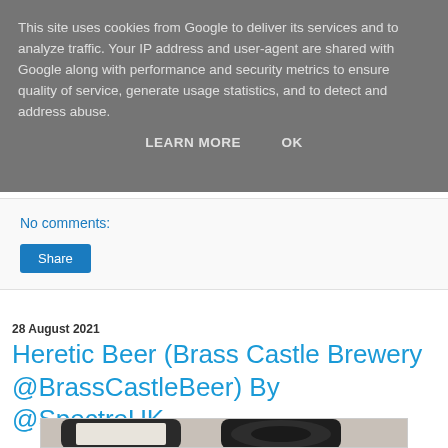This site uses cookies from Google to deliver its services and to analyze traffic. Your IP address and user-agent are shared with Google along with performance and security metrics to ensure quality of service, generate usage statistics, and to detect and address abuse.
LEARN MORE    OK
No comments:
Share
28 August 2021
Heretic Beer (Brass Castle Brewery @BrassCastleBeer) By @SpectreUK
[Figure (photo): Two dark cans of Heretic Beer by Brass Castle Brewery, one showing a label and the other showing the top of the can]